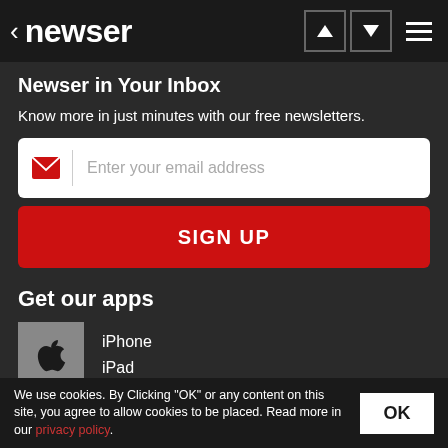< newser
Newser in Your Inbox
Know more in just minutes with our free newsletters.
Enter your email address
SIGN UP
Get our apps
iPhone
iPad
Android
We use cookies. By Clicking "OK" or any content on this site, you agree to allow cookies to be placed. Read more in our privacy policy.